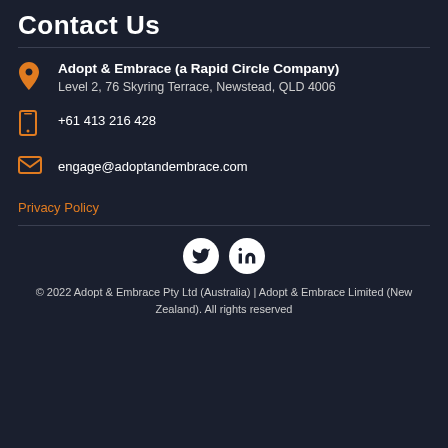Contact Us
Adopt & Embrace (a Rapid Circle Company)
Level 2, 76 Skyring Terrace, Newstead, QLD 4006
+61 413 216 428
engage@adoptandembrace.com
Privacy Policy
[Figure (illustration): Twitter and LinkedIn social media icons as white circles with dark logos]
© 2022 Adopt & Embrace Pty Ltd (Australia) | Adopt & Embrace Limited (New Zealand). All rights reserved